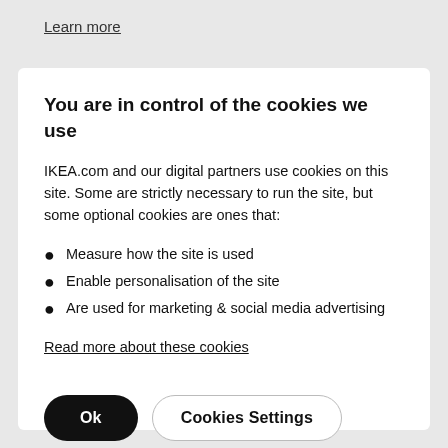Learn more
You are in control of the cookies we use
IKEA.com and our digital partners use cookies on this site. Some are strictly necessary to run the site, but some optional cookies are ones that:
Measure how the site is used
Enable personalisation of the site
Are used for marketing & social media advertising
Read more about these cookies
Ok  Cookies Settings